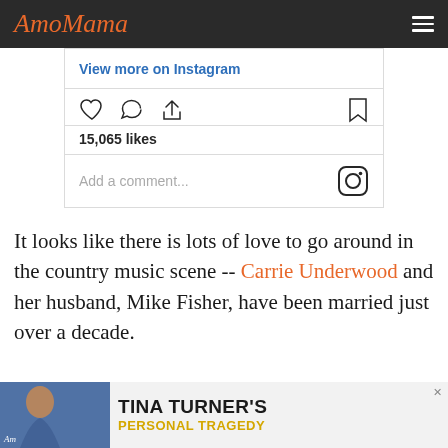AmoMama
[Figure (screenshot): Instagram embed showing 'View more on Instagram' link, like/comment/share icons, 15,065 likes count, and Add a comment field with Instagram logo]
It looks like there is lots of love to go around in the country music scene -- Carrie Underwood and her husband, Mike Fisher, have been married just over a decade.
[Figure (photo): Advertisement banner for AmoMama featuring Tina Turner's Personal Tragedy with a photo of a woman and bold text]